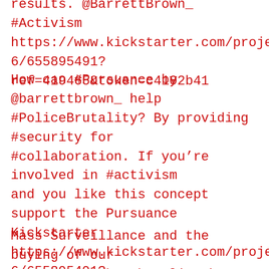results. @BarrettBrown_ #Activism https://www.kickstarter.com/projects/85883596/655895491?ref=419465&token=c4102b41
How can #Pursuance by @barrettbrown_ help #PoliceBrutality? By providing #security for #collaboration. If you're involved in #activism and you like this concept support the Pursuance Kickstarter https://www.kickstarter.com/projects/85883596/655895491?ref=419465&token=c4102b41
Mass Surveillance and the buying of our governments by the elite has made secure and